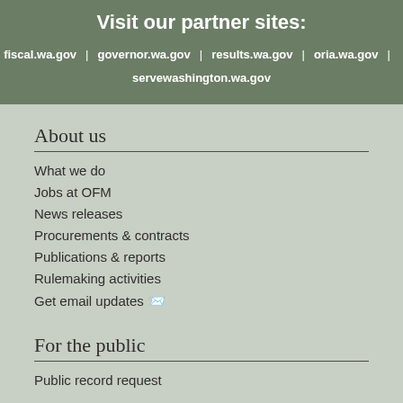Visit our partner sites:
fiscal.wa.gov | governor.wa.gov | results.wa.gov | oria.wa.gov | servewashington.wa.gov
About us
What we do
Jobs at OFM
News releases
Procurements & contracts
Publications & reports
Rulemaking activities
Get email updates 📧
For the public
Public record request